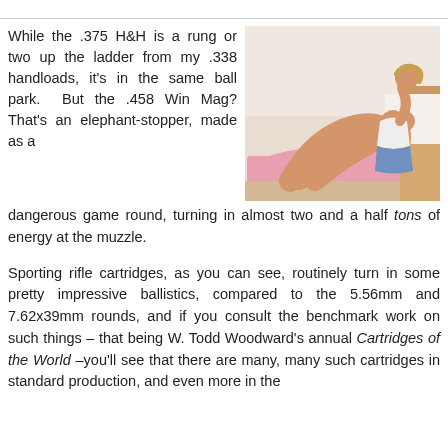[Figure (photo): Photo of a young woman lying on a pink rug near a bed, wearing shorts and a white top, with her legs raised.]
While the .375 H&H is a rung or two up the ladder from my .338 handloads, it's in the same ball park. But the .458 Win Mag? That's an elephant-stopper, made as a dangerous game round, turning in almost two and a half tons of energy at the muzzle.
Sporting rifle cartridges, as you can see, routinely turn in some pretty impressive ballistics, compared to the 5.56mm and 7.62x39mm rounds, and if you consult the benchmark work on such things – that being W. Todd Woodward's annual Cartridges of the World –you'll see that there are many, many such cartridges in standard production, and even more in the